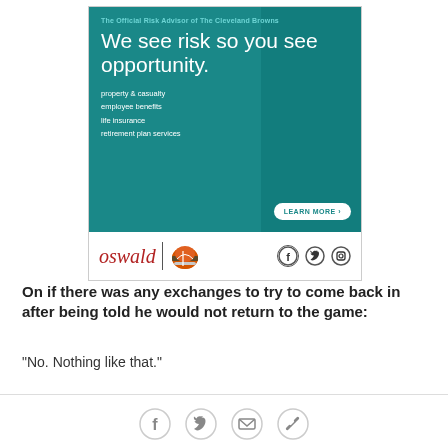[Figure (illustration): Oswald insurance advertisement banner. Teal/dark cyan background with text: 'The Official Risk Advisor of The Cleveland Browns', large headline 'We see risk so you see opportunity.', services listed: property & casualty, employee benefits, life insurance, retirement plan services, and a LEARN MORE button. Bottom section shows Oswald logo with Cleveland Browns helmet and social media icons.]
On if there was any exchanges to try to come back in after being told he would not return to the game:
"No. Nothing like that."